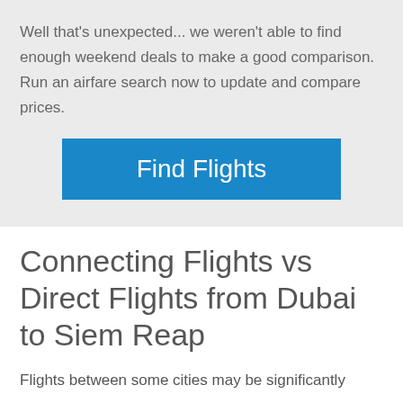Well that's unexpected... we weren't able to find enough weekend deals to make a good comparison. Run an airfare search now to update and compare prices.
[Figure (other): Blue 'Find Flights' button]
Connecting Flights vs Direct Flights from Dubai to Siem Reap
Flights between some cities may be significantly